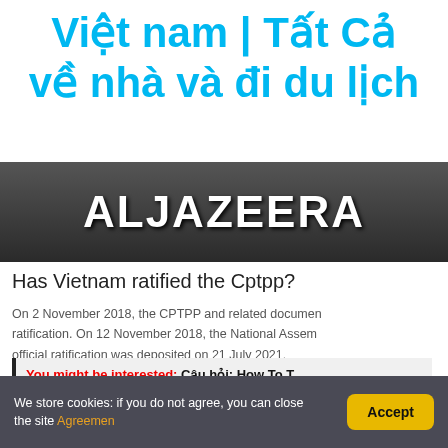Việt nam | Tất Cả về nhà và đi du lịch
[Figure (photo): Al Jazeera logo sign photographed up close, showing white text on dark background]
Has Vietnam ratified the Cptpp?
On 2 November 2018, the CPTPP and related documents were submitted to the National Assembly for ratification. On 12 November 2018, the National Assembly ratified the CPTPP. Vietnam's official ratification was deposited on 21 July 2021.
You might be interested: Câu hỏi: How To ...
We store cookies: if you do not agree, you can close the site Agreemen